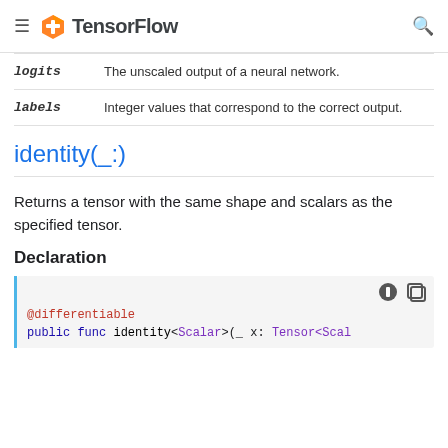TensorFlow
| Parameter | Description |
| --- | --- |
| logits | The unscaled output of a neural network. |
| labels | Integer values that correspond to the correct output. |
identity(_:)
Returns a tensor with the same shape and scalars as the specified tensor.
Declaration
@differentiable
public func identity<Scalar>(_ x: Tensor<Scal